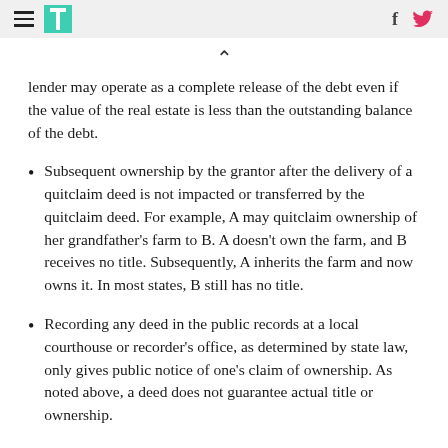[navigation header with hamburger menu, logo, facebook and twitter icons]
lender may operate as a complete release of the debt even if the value of the real estate is less than the outstanding balance of the debt.
Subsequent ownership by the grantor after the delivery of a quitclaim deed is not impacted or transferred by the quitclaim deed. For example, A may quitclaim ownership of her grandfather's farm to B. A doesn't own the farm, and B receives no title. Subsequently, A inherits the farm and now owns it. In most states, B still has no title.
Recording any deed in the public records at a local courthouse or recorder's office, as determined by state law, only gives public notice of one's claim of ownership. As noted above, a deed does not guarantee actual title or ownership.